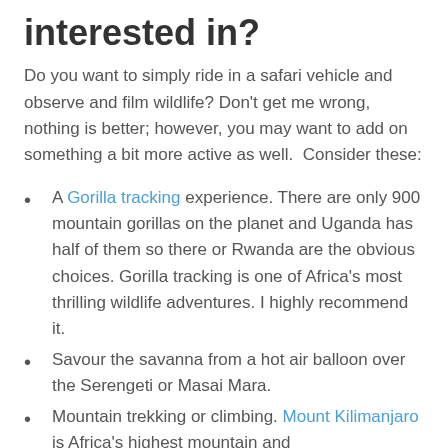interested in?
Do you want to simply ride in a safari vehicle and observe and film wildlife? Don't get me wrong, nothing is better; however, you may want to add on something a bit more active as well. Consider these:
A Gorilla tracking experience. There are only 900 mountain gorillas on the planet and Uganda has half of them so there or Rwanda are the obvious choices. Gorilla tracking is one of Africa's most thrilling wildlife adventures. I highly recommend it.
Savour the savanna from a hot air balloon over the Serengeti or Masai Mara.
Mountain trekking or climbing. Mount Kilimanjaro is Africa's highest mountain and